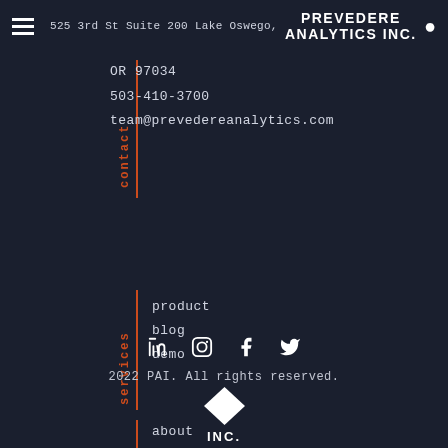PREVEDERE ANALYTICS INC.
525 3rd St Suite 200 Lake Oswego, OR 97034
503-410-3700
team@prevedereanalytics.com
product
blog
demo
about
contact
faq
[Figure (infographic): Social media icons: LinkedIn, Instagram, Facebook, Twitter]
2022 PAI. All rights reserved.
[Figure (logo): Diamond shape with INC. text below — Prevedere Analytics Inc. logo]